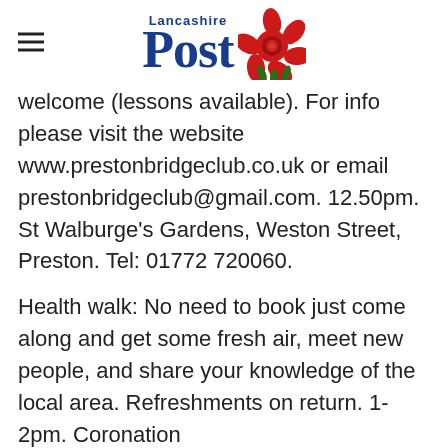Lancashire Post
welcome (lessons available). For info please visit the website www.prestonbridgeclub.co.uk or email prestonbridgeclub@gmail.com. 12.50pm. St Walburge's Gardens, Weston Street, Preston. Tel: 01772 720060.
Health walk: No need to book just come along and get some fresh air, meet new people, and share your knowledge of the local area. Refreshments on return. 1-2pm. Coronation Park Bowling Pavillion, Ormskirk. Tel: 01695 555804.